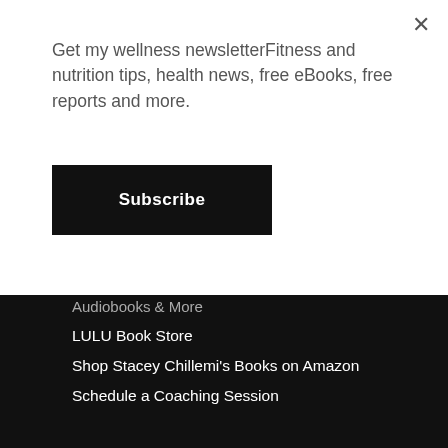Get my wellness newsletterFitness and nutrition tips, health news, free eBooks, free reports and more.
Subscribe
Audiobooks & More
LULU Book Store
Shop Stacey Chillemi's Books on Amazon
Schedule a Coaching Session